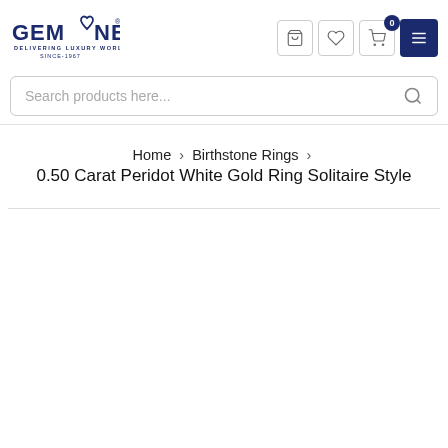[Figure (logo): GemOne logo — 'GEMONE' in dark navy blue with a diamond/heart icon between GEM and ONE, subtitle 'DELIVERING LUXURY WORLDWIDE' and 'SINCE-1967']
Search products here...
Home › Birthstone Rings ›
0.50 Carat Peridot White Gold Ring Solitaire Style